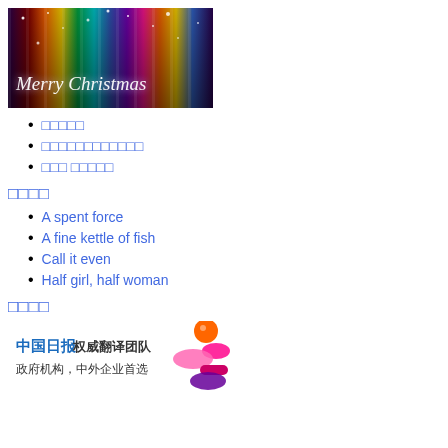[Figure (illustration): Merry Christmas banner with colorful vertical light streaks and stars on dark background]
□□□□□
□□□□□□□□□□□□
□□□ □□□□□
□□□□
A spent force
A fine kettle of fish
Call it even
Half girl, half woman
□□□□
[Figure (logo): China Daily (中国日报) translation team advertisement with colorful abstract shapes]